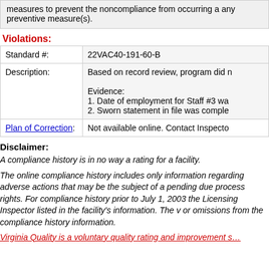measures to prevent the noncompliance from occurring a any preventive measure(s).
Violations:
|  |  |
| --- | --- |
| Standard #: | 22VAC40-191-60-B |
| Description: | Based on record review, program did n…

Evidence:
1. Date of employment for Staff #3 wa…
2. Sworn statement in file was comple… |
| Plan of Correction: | Not available online. Contact Inspecto… |
Disclaimer:
A compliance history is in no way a rating for a facility.
The online compliance history includes only information regarding adverse actions that may be the subject of a pending due process rights. For compliance history prior to July 1, 2003 the Licensing Inspector listed in the facility’s information. The v or omissions from the compliance history information.
Virginia Quality is a voluntary quality rating and improvement s…